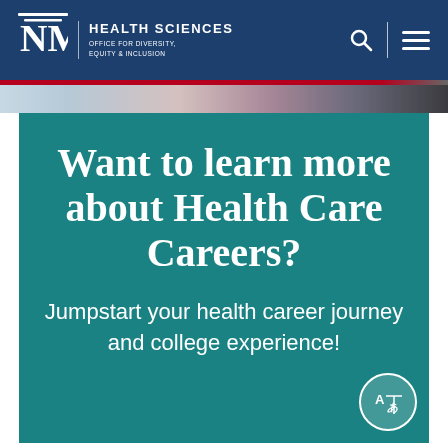UNM Health Sciences — Office for Diversity, Equity & Inclusion
[Figure (screenshot): Partial photo strip showing colorful background image behind header]
Want to learn more about Health Care Careers?
Jumpstart your health career journey and college experience!